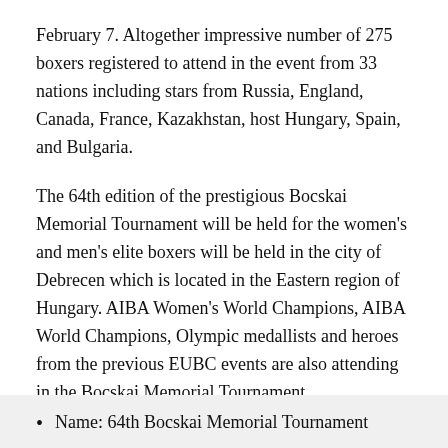February 7. Altogether impressive number of 275 boxers registered to attend in the event from 33 nations including stars from Russia, England, Canada, France, Kazakhstan, host Hungary, Spain, and Bulgaria.
The 64th edition of the prestigious Bocskai Memorial Tournament will be held for the women's and men's elite boxers will be held in the city of Debrecen which is located in the Eastern region of Hungary. AIBA Women's World Champions, AIBA World Champions, Olympic medallists and heroes from the previous EUBC events are also attending in the Bocskai Memorial Tournament.
Facts of the event
Name: 64th Bocskai Memorial Tournament